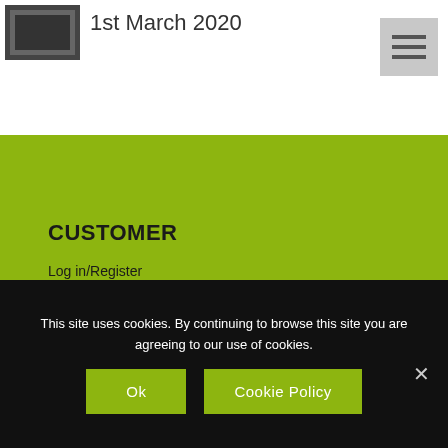1st March 2020
CUSTOMER
Log in/Register
Cart
Checkout
Delivery
Returns
Terms and Conditions
This site uses cookies. By continuing to browse this site you are agreeing to our use of cookies.
Ok
Cookie Policy